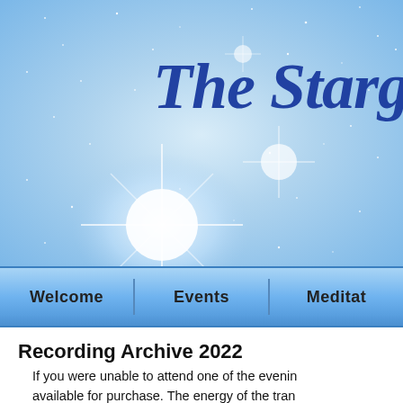[Figure (screenshot): Website header banner with a starry night sky background in blue and white tones, with the cursive blue text 'The Starga...' (truncated). Bright star/light burst effects are visible.]
[Figure (screenshot): Navigation bar with blue gradient background containing menu items: Welcome | Events | Meditat... (truncated)]
Recording Archive 2022
If you were unable to attend one of the evenin... available for purchase. The energy of the tran... experience will be different as you shift and ex...
Please note the recording of meditation...